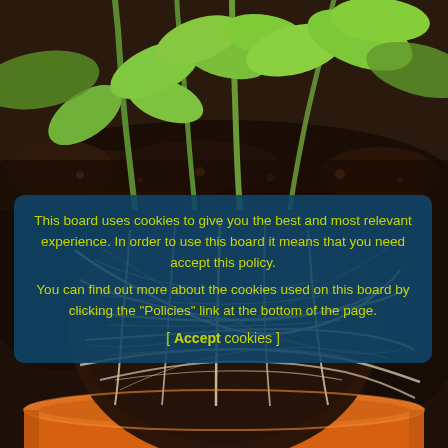[Figure (photo): Close-up photo of young green seedlings with stems and leaves growing in dark soil, top portion of a garden scene]
[Figure (photo): Close-up photo of a root ball from a plant removed from an orange pot, showing dense white roots wrapped around dark soil, sitting in an orange plastic pot]
This board uses cookies to give you the best and most relevant experience. In order to use this board it means that you need accept this policy.
You can find out more about the cookies used on this board by clicking the "Policies" link at the bottom of the page.
[ Accept cookies ]